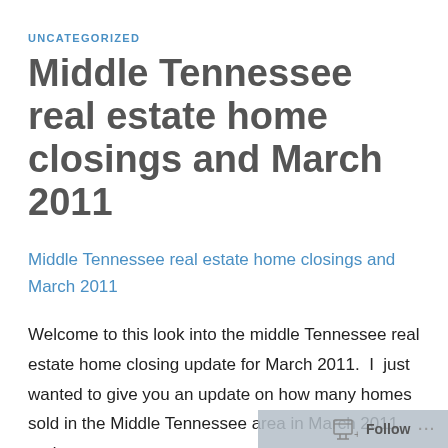UNCATEGORIZED
Middle Tennessee real estate home closings and March 2011
Middle Tennessee real estate home closings and March 2011
Welcome to this look into the middle Tennessee real estate home closing update for March 2011.  I  just wanted to give you an update on how many homes sold in the Middle Tennessee area in March 2011 and...